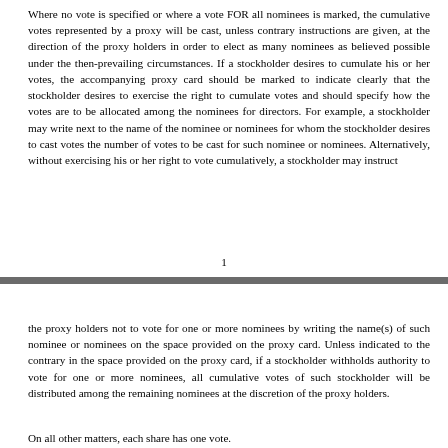Where no vote is specified or where a vote FOR all nominees is marked, the cumulative votes represented by a proxy will be cast, unless contrary instructions are given, at the direction of the proxy holders in order to elect as many nominees as believed possible under the then-prevailing circumstances. If a stockholder desires to cumulate his or her votes, the accompanying proxy card should be marked to indicate clearly that the stockholder desires to exercise the right to cumulate votes and should specify how the votes are to be allocated among the nominees for directors. For example, a stockholder may write next to the name of the nominee or nominees for whom the stockholder desires to cast votes the number of votes to be cast for such nominee or nominees. Alternatively, without exercising his or her right to vote cumulatively, a stockholder may instruct
1
the proxy holders not to vote for one or more nominees by writing the name(s) of such nominee or nominees on the space provided on the proxy card. Unless indicated to the contrary in the space provided on the proxy card, if a stockholder withholds authority to vote for one or more nominees, all cumulative votes of such stockholder will be distributed among the remaining nominees at the discretion of the proxy holders.
On all other matters, each share has one vote.